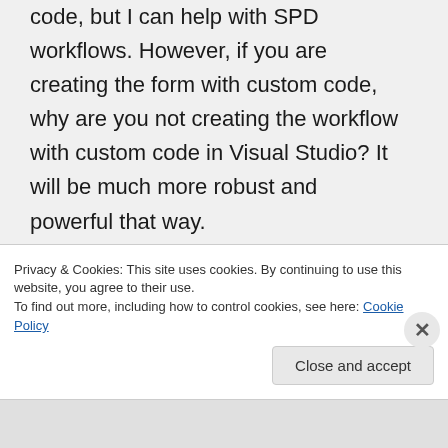code, but I can help with SPD workflows. However, if you are creating the form with custom code, why are you not creating the workflow with custom code in Visual Studio? It will be much more robust and powerful that way.
The only way your method will work with SPD is if your form submits data to SharePoint. If it only submits to a database, then SharePoint Designer will not be able
Privacy & Cookies: This site uses cookies. By continuing to use this website, you agree to their use.
To find out more, including how to control cookies, see here: Cookie Policy
Close and accept